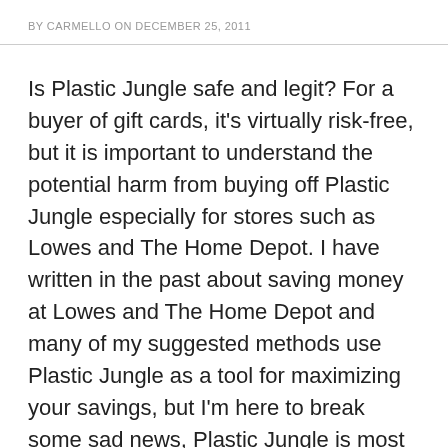BY CARMELLO ON DECEMBER 25, 2011
Is Plastic Jungle safe and legit? For a buyer of gift cards, it’s virtually risk-free, but it is important to understand the potential harm from buying off Plastic Jungle especially for stores such as Lowes and The Home Depot. I have written in the past about saving money at Lowes and The Home Depot and many of my suggested methods use Plastic Jungle as a tool for maximizing your savings, but I’m here to break some sad news, Plastic Jungle is most likely helping criminals cash in on theft.